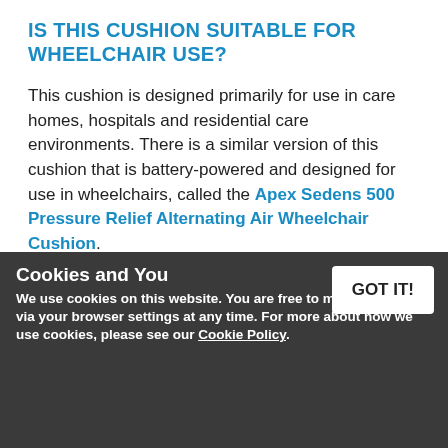IS THIS CUSHION SUITABLE FOR WHEELCHAIR USE?
This cushion is designed primarily for use in care homes, hospitals and residential care environments. There is a similar version of this cushion that is battery-powered and designed for use in wheelchairs, called the Apex Sedens 500 Pressure Relief Alternating Air Wheelchair Cushion.
BULK PACK AVAILABLE AT A REDUCED PRICE!
Some medical facilities such as care homes and hospitals may require pressure relief cushions for multiple patients, but ordering these cushions individually can be very costly. To help these customers, we offer a Bulk Pack of Five Sedens 410 Cushions at
Cookies and You
We use cookies on this website. You are free to manage these via your browser settings at any time. For more about how we use cookies, please see our Cookie Policy.